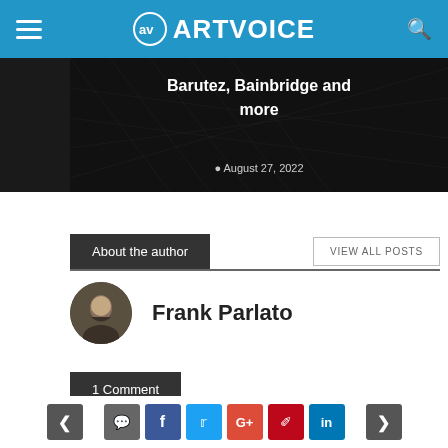ARTVOICE
[Figure (photo): Dark banner image with text 'Barutez, Bainbridge and more' and date 'August 27, 2022']
About the author
VIEW ALL POSTS
Frank Parlato
1 Comment